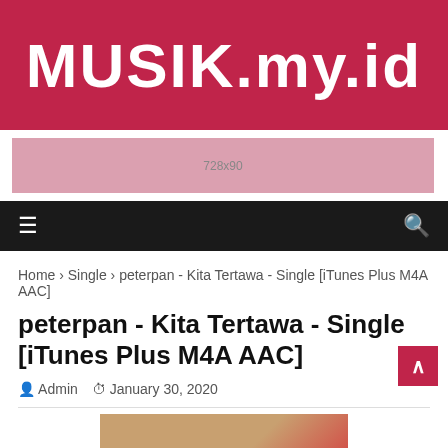MUSIK.my.id
[Figure (other): Ad banner placeholder 728x90]
Navigation bar with hamburger menu and search icon
Home > Single > peterpan - Kita Tertawa - Single [iTunes Plus M4A AAC]
peterpan - Kita Tertawa - Single [iTunes Plus M4A AAC]
Admin   January 30, 2020
[Figure (photo): Partial view of an album cover image with red and beige tones]